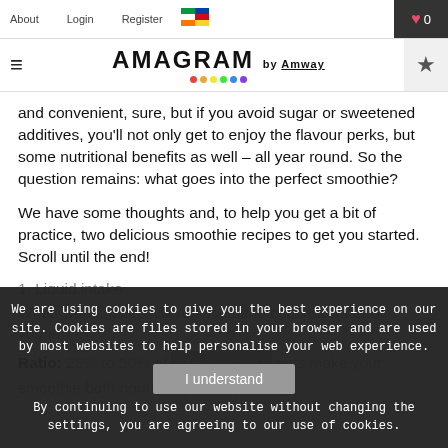About   Login   Register   [flag]   ♥ 0
≡   AMAGRAM by Amway   ★
and convenient, sure, but if you avoid sugar or sweetened additives, you'll not only get to enjoy the flavour perks, but some nutritional benefits as well – all year round. So the question remains: what goes into the perfect smoothie?
We have some thoughts and, to help you get a bit of practice, two delicious smoothie recipes to get you started. Scroll until the end!
1. Liquid intake
What: water, milk, milk replacement, coconut water or yoghurt...
Ratio: 25% to 50% of [button] ents make your smoothie both nourishing and hydrating
We are using cookies to give you the best experience on our site. Cookies are files stored in your browser and are used by most websites to help personalise your web experience.
By continuing to use our website without changing the settings, you are agreeing to our use of cookies.